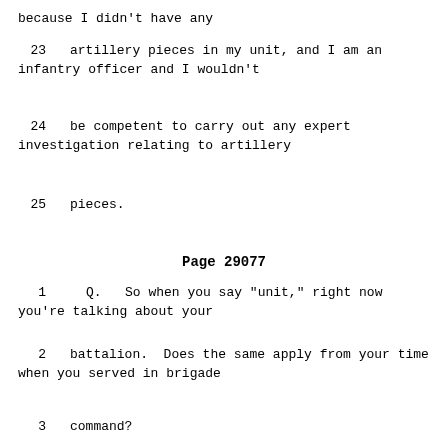because I didn't have any
23    artillery pieces in my unit, and I am an infantry officer and I wouldn't
24    be competent to carry out any expert investigation relating to artillery
25    pieces.
Page 29077
1        Q.   So when you say "unit," right now you're talking about your
2    battalion.  Does the same apply from your time when you served in brigade
3    command?